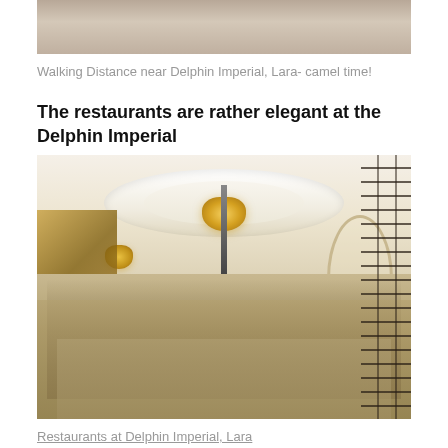[Figure (photo): Top portion of a photo showing walking distance near Delphin Imperial, Lara - camel time, cropped at top of page]
Walking Distance near Delphin Imperial, Lara- camel time!
The restaurants are rather elegant at the Delphin Imperial
[Figure (photo): Elegant restaurant interior at Delphin Imperial hotel in Lara, showing ornate ceiling with oval feature and chandelier, white chairs, diners seated at tables, decorative ironwork on right side, arch and mural on walls]
Restaurants at Delphin Imperial, Lara